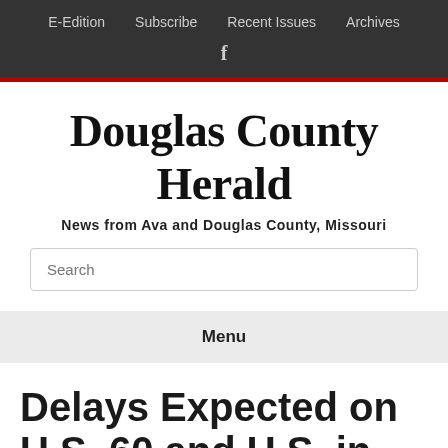E-Edition  Subscribe  Recent Issues  Archives  f
Douglas County Herald
News from Ava and Douglas County, Missouri
Search
Menu
Delays Expected on U.S. 60 and U.S. in